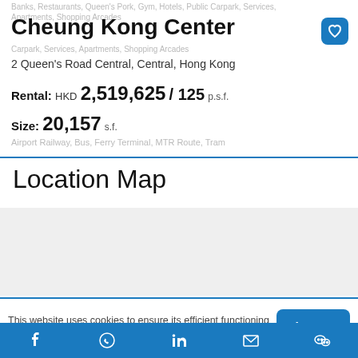Banks, Restaurants, Queen's Park, Gym, Hotels, Public Carpark, Services, Apartments, Shopping Arcades
Cheung Kong Center
Carpark, Services, Apartments, Shopping Arcades
2 Queen's Road Central, Central, Hong Kong
Rental: HKD 2,519,625 / 125 p.s.f.
Size: 20,157 s.f.
Airport Railway, Bus, Ferry Terminal, MTR Route, Tram
Location Map
[Figure (map): Location map area placeholder, blank/light grey]
This website uses cookies to ensure its efficient functioning and you get the best experience on our
Social media icons: Facebook, WhatsApp, LinkedIn, Email, WeChat